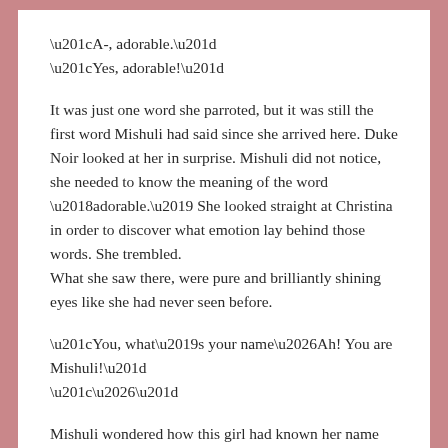“A-, adorable.”
“Yes, adorable!”
It was just one word she parroted, but it was still the first word Mishuli had said since she arrived here. Duke Noir looked at her in surprise. Mishuli did not notice, she needed to know the meaning of the word ‘adorable.’ She looked straight at Christina in order to discover what emotion lay behind those words. She trembled.
What she saw there, were pure and brilliantly shining eyes like she had never seen before.
“You, what’s your name…Ah! You are Mishuli!”
“…”
Mishuli wondered how this girl had known her name before she said it, but more than that, she felt herself being drawn into her dark black eyes.